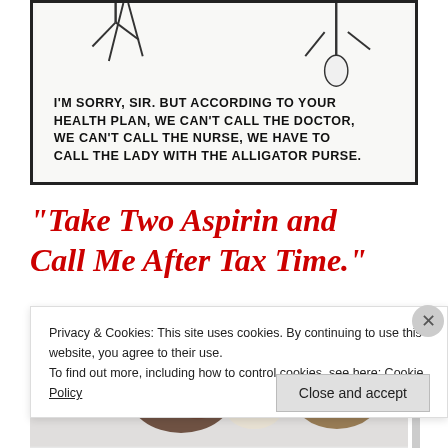[Figure (illustration): Comic panel showing a cartoon scene with handwritten-style text about a health plan. Text reads: I'M SORRY, SIR. BUT ACCORDING TO YOUR HEALTH PLAN, WE CAN'T CALL THE DOCTOR, WE CAN'T CALL THE NURSE, WE HAVE TO CALL THE LADY WITH THE ALLIGATOR PURSE.]
“Take Two Aspirin and Call Me After Tax Time.”
[Figure (illustration): Partial illustration showing cartoon animal characters, cropped by cookie consent banner.]
Privacy & Cookies: This site uses cookies. By continuing to use this website, you agree to their use.
To find out more, including how to control cookies, see here: Cookie Policy